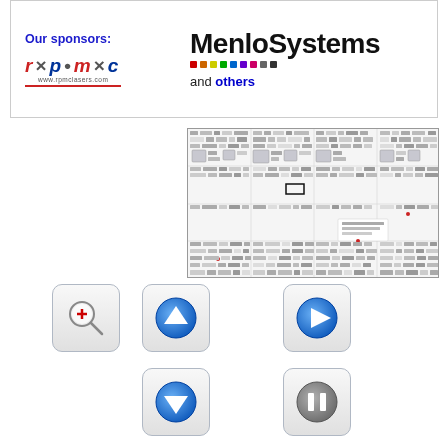[Figure (infographic): Sponsors box showing MenloSystems logo with colored dots, RPMC Lasers logo, and text 'Our sponsors:' and 'and others']
[Figure (screenshot): Dense document/conference schedule grid map with many small text items]
[Figure (infographic): Navigation button icons: zoom-in magnifier, scroll up arrow, play button, scroll down arrow, pause button]